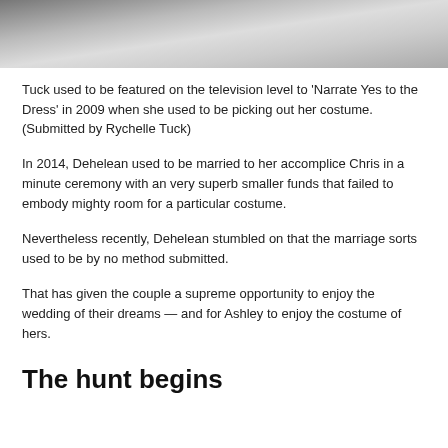[Figure (photo): Partial black and white photo, cropped at top, showing what appears to be a person in a wedding dress or veil.]
Tuck used to be featured on the television level to 'Narrate Yes to the Dress' in 2009 when she used to be picking out her costume. (Submitted by Rychelle Tuck)
In 2014, Dehelean used to be married to her accomplice Chris in a minute ceremony with an very superb smaller funds that failed to embody mighty room for a particular costume.
Nevertheless recently, Dehelean stumbled on that the marriage sorts used to be by no method submitted.
That has given the couple a supreme opportunity to enjoy the wedding of their dreams — and for Ashley to enjoy the costume of hers.
The hunt begins